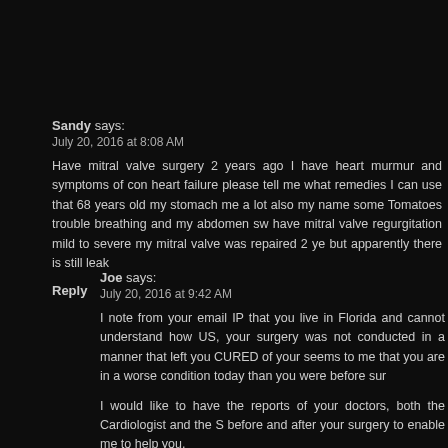Sandy says:
July 20, 2016 at 8:08 AM
Have mitral valve surgery 2 years ago I have heart murmur and symptoms of congestive heart failure please tell me what remedies I can use that 68 years old my stomach me a lot also my name some Tomatoes trouble breathing and my abdomen sw have mitral valve regurgitation mild to severe my mitral valve was repaired 2 ye but apparently there is still leak
Reply
Joe says:
July 20, 2016 at 9:42 AM
I note from your email IP that you live in Florida and cannot understand how US, your surgery was not conducted in a manner that left you CURED of your seems to me that you are in a worse condition today than you were before sur
I would like to have the reports of your doctors, both the Cardiologist and the S before and after your surgery to enable me to help you.
I must also know your age, weight, height, married and any other details yo normally give a physician.